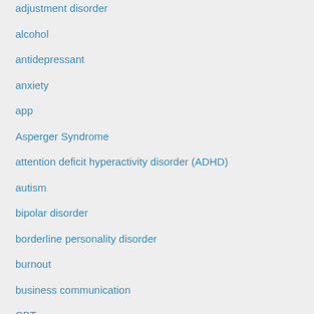adjustment disorder
alcohol
antidepressant
anxiety
app
Asperger Syndrome
attention deficit hyperactivity disorder (ADHD)
autism
bipolar disorder
borderline personality disorder
burnout
business communication
CBT
CBT